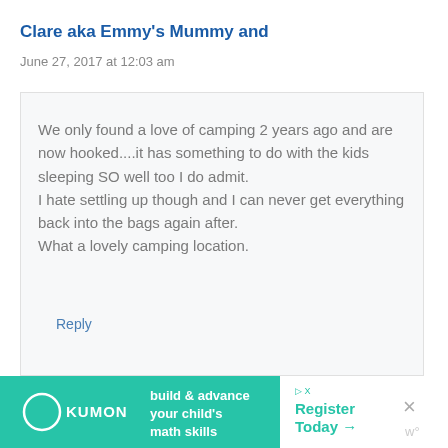Clare aka Emmy's Mummy and
June 27, 2017 at 12:03 am
We only found a love of camping 2 years ago and are now hooked....it has something to do with the kids sleeping SO well too I do admit.
I hate settling up though and I can never get everything back into the bags again after.
What a lovely camping location.
Reply
[Figure (screenshot): Kumon advertisement banner: 'build & advance your child's math skills' with 'Register Today ->' button and close button]